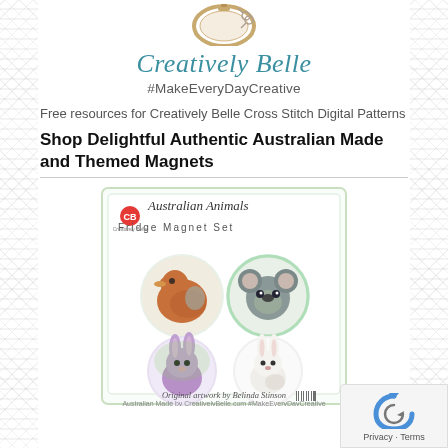[Figure (logo): Embroidery hoop with scissors icon at top, Creatively Belle logo]
Creatively Belle
#MakeEveryDayCreative
Free resources for Creatively Belle Cross Stitch Digital Patterns
Shop Delightful Authentic Australian Made and Themed Magnets
[Figure (photo): Australian Animals Fridge Magnet Set packaging showing four circular magnets with watercolour paintings of Australian animals: kangaroo/wallaby, koala, rabbit/bilby, and white kangaroo. Text reads 'Original artwork by Belinda Stinson, Australian Made by CreativelyBelle.com #MakeEveryDayCreative']